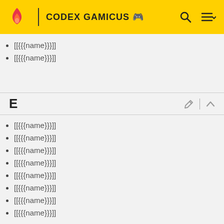CODEX GAMICUS
[[{{{name}}}]]
[[{{{name}}}]]
E
[[{{{name}}}]]
[[{{{name}}}]]
[[{{{name}}}]]
[[{{{name}}}]]
[[{{{name}}}]]
[[{{{name}}}]]
[[{{{name}}}]]
[[{{{name}}}]]